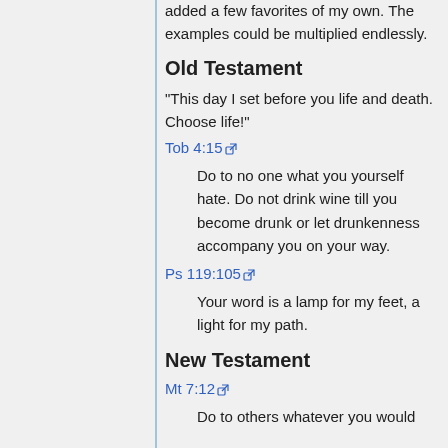added a few favorites of my own. The examples could be multiplied endlessly.
Old Testament
"This day I set before you life and death. Choose life!"
Tob 4:15
Do to no one what you yourself hate. Do not drink wine till you become drunk or let drunkenness accompany you on your way.
Ps 119:105
Your word is a lamp for my feet, a light for my path.
New Testament
Mt 7:12
Do to others whatever you would